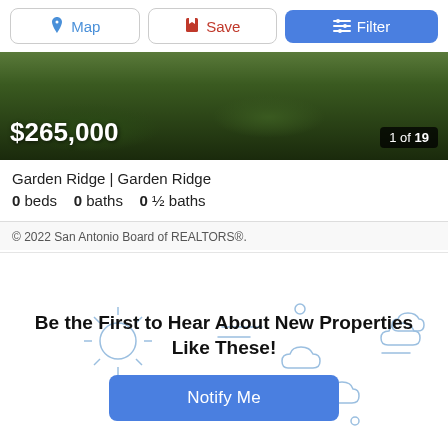[Figure (screenshot): Top navigation toolbar with Map, Save, and Filter buttons]
[Figure (photo): Property photo showing outdoor landscape with green vegetation. Price overlay shows $265,000 and image count 1 of 19.]
Garden Ridge | Garden Ridge
0 beds   0 baths   0 ½ baths
© 2022 San Antonio Board of REALTORS®.
[Figure (illustration): Decorative weather icons (sun, clouds, wind lines) as light blue outline illustrations on white background]
Be the First to Hear About New Properties Like These!
Notify Me